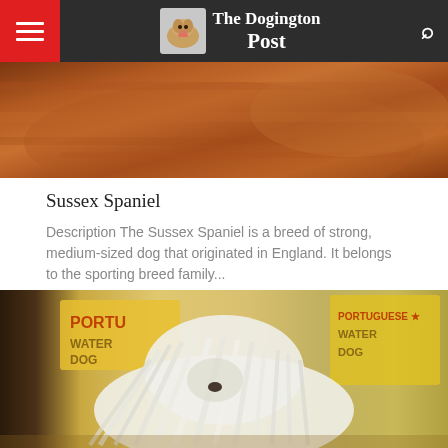The Dogington Post
[Figure (photo): Sussex Spaniel dog photo, reddish-brown fur, cropped top portion]
Sussex Spaniel
Description The Sussex Spaniel is a breed of strong, medium-sized dog that originated in England. It belongs to the sporting breed family...
[Figure (photo): Komondor or similar mop-coated dog with white dreadlock fur at a dog show, yellow signage in background reading PORTU... WATER DOG]